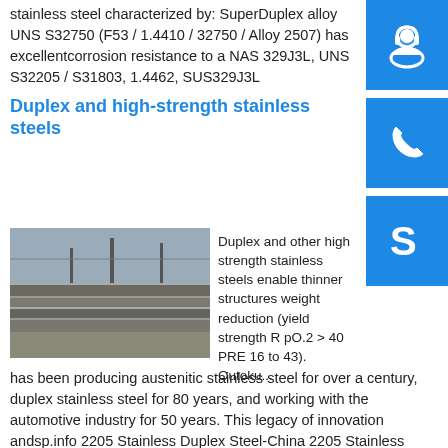stainless steel characterized by: SuperDuplex alloy UNS S32750 (F53 / 1.4410 / 32750 / Alloy 2507) has excellentcorrosion resistance to a NAS 329J3L, UNS S32205 / S31803, 1.4462, SUS329J3L
Duplex and high-strength stainless steels
[Figure (photo): Photo of stainless steel plates stacked outdoors]
Duplex and other high strength stainless steels enable thinner structures weight reduction (yield strength R pO.2 > 40 PRE 16 to 43). Outokumpu has been producing austenitic stainless steel for over a century, duplex stainless steel for 80 years, and working with the automotive industry for 50 years. This legacy of innovation andsp.info 2205 Stainless Duplex Steel-China 2205 Stainless Duplex ...China 2205 Stainless Duplex Steel - Select 2020 2205 Stainless Duplex Steel products from